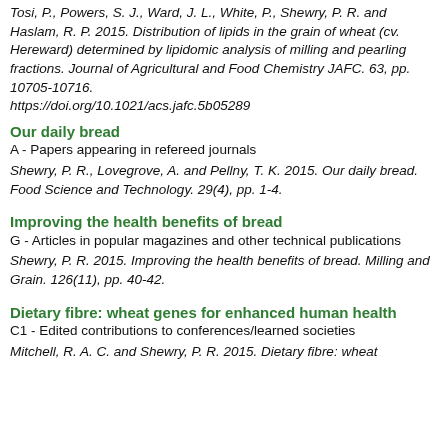Tosi, P., Powers, S. J., Ward, J. L., White, P., Shewry, P. R. and Haslam, R. P. 2015. Distribution of lipids in the grain of wheat (cv. Hereward) determined by lipidomic analysis of milling and pearling fractions. Journal of Agricultural and Food Chemistry JAFC. 63, pp. 10705-10716. https://doi.org/10.1021/acs.jafc.5b05289
Our daily bread
A - Papers appearing in refereed journals
Shewry, P. R., Lovegrove, A. and Pellny, T. K. 2015. Our daily bread. Food Science and Technology. 29(4), pp. 1-4.
Improving the health benefits of bread
G - Articles in popular magazines and other technical publications
Shewry, P. R. 2015. Improving the health benefits of bread. Milling and Grain. 126(11), pp. 40-42.
Dietary fibre: wheat genes for enhanced human health
C1 - Edited contributions to conferences/learned societies
Mitchell, R. A. C. and Shewry, P. R. 2015. Dietary fibre: wheat